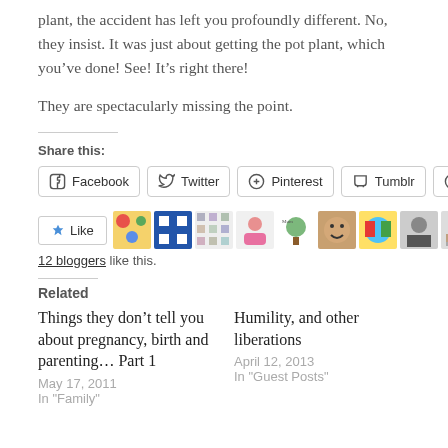plant, the accident has left you profoundly different. No, they insist. It was just about getting the pot plant, which you've done! See! It's right there!
They are spectacularly missing the point.
Share this:
Facebook  Twitter  Pinterest  Tumblr  Reddit
[Figure (other): Like button and 12 blogger avatars]
12 bloggers like this.
Related
Things they don't tell you about pregnancy, birth and parenting… Part 1
May 17, 2011
In "Family"
Humility, and other liberations
April 12, 2013
In "Guest Posts"